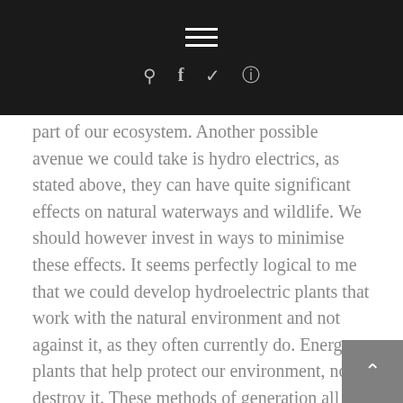≡ [hamburger menu] | 🔍 f 🐦 📷
part of our ecosystem. Another possible avenue we could take is hydro electrics, as stated above, they can have quite significant effects on natural waterways and wildlife. We should however invest in ways to minimise these effects. It seems perfectly logical to me that we could develop hydroelectric plants that work with the natural environment and not against it, as they often currently do. Energy plants that help protect our environment, not destroy it. These methods of generation all require vast amounts of research and we should be looking for new methods. Reliability through diversity.
Nuclear
Nuclear Energy, given current growth trajectories, is our best option. It's very low carbon and as a result, eco friendly.